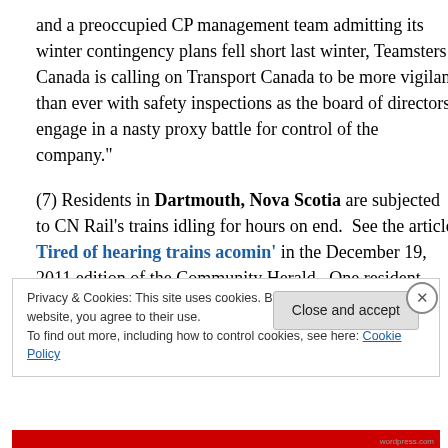and a preoccupied CP management team admitting its winter contingency plans fell short last winter, Teamsters Canada is calling on Transport Canada to be more vigilant than ever with safety inspections as the board of directors engage in a nasty proxy battle for control of the company."
(7) Residents in Dartmouth, Nova Scotia are subjected to CN Rail's trains idling for hours on end.  See the article Tired of hearing trains acomin' in the December 19, 2011 edition of the Community Herald.  One resident
Privacy & Cookies: This site uses cookies. By continuing to use this website, you agree to their use.
To find out more, including how to control cookies, see here: Cookie Policy